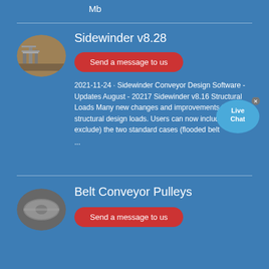Mb
Sidewinder v8.28
Send a message to us
2021-11-24 · Sidewinder Conveyor Design Software - Updates August - 20217 Sidewinder v8.16 Structural Loads Many new changes and improvements to the structural design loads. Users can now include (or exclude) the two standard cases (flooded belt ...
Belt Conveyor Pulleys
Send a message to us